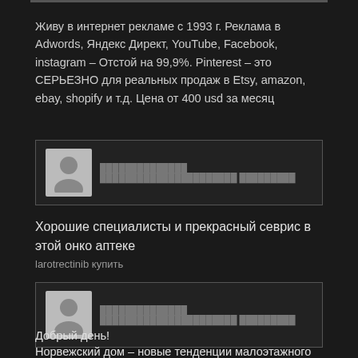Живу в интернет рекламе с 1993 г. Реклама в Adwords, Яндекс Директ, YouTube, Facebook, instagram – Отстой на 99,9%. Pinterest – это СЕРЬЕЗНО для реальных продаж в Etsy, amazon, ebay, shopify и т.д. Цена от 400 usd за месяц
[Figure (other): User avatar comment box with avatar icon and blurred username/text line]
Хорошие специалисты и прекрасный севрис в этой онко аптеке
larotrectinib купить
[Figure (other): User avatar comment box with avatar icon and blurred username/text line]
Добрый день!
Норвежский дом – новые тенденции малоэтажного